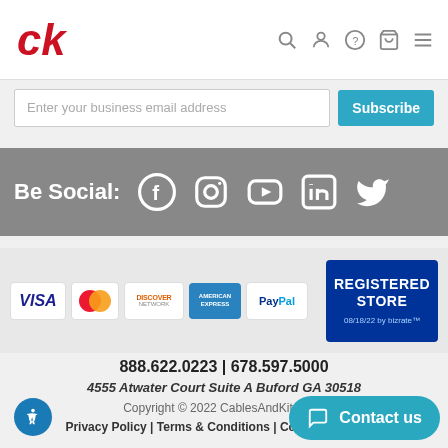CablesAndKits.com header with logo and navigation icons
Enter your business email address
Subscribe
[Figure (infographic): Be Social section with Facebook, Instagram, YouTube, LinkedIn, Twitter icons on grey background]
[Figure (infographic): Payment methods: Visa, Mastercard, Discover, American Express, PayPal and Registered Store badge 08/18/22 by bizrate]
888.622.0223 | 678.597.5000
4555 Atwater Court Suite A Buford GA 30518
Copyright © 2022 CablesAndKits.com
Privacy Policy | Terms & Conditions | Conditions of Use